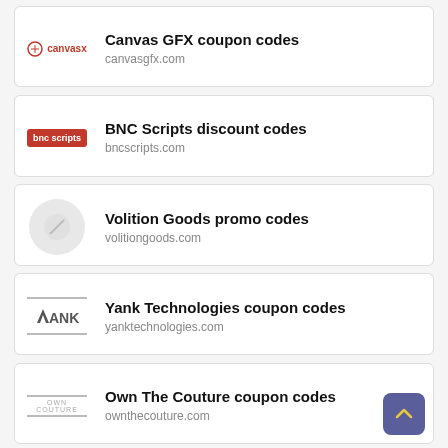Canvas GFX coupon codes
canvasgfx.com
BNC Scripts discount codes
bncscripts.com
Volition Goods promo codes
volitiongoods.com
Yank Technologies coupon codes
yanktechnologies.com
Own The Couture coupon codes
ownthecouture.com